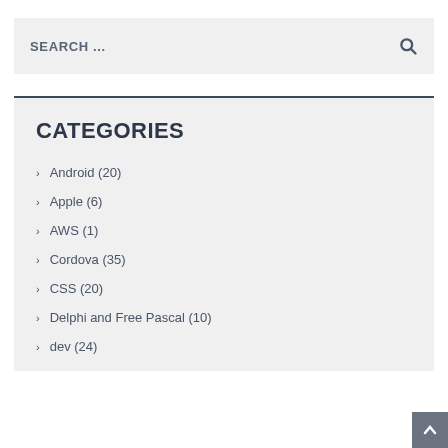SEARCH ...
CATEGORIES
Android (20)
Apple (6)
AWS (1)
Cordova (35)
CSS (20)
Delphi and Free Pascal (10)
dev (24)